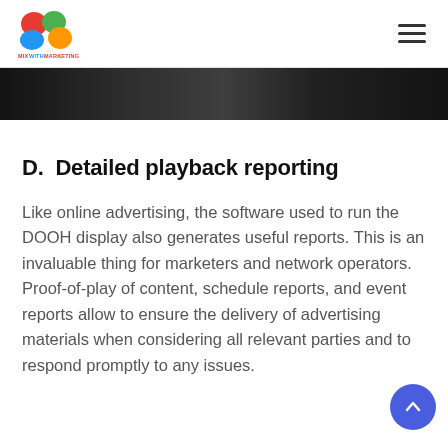MixWithMarketing logo and navigation
[Figure (photo): Dark banner hero image at top of page]
D.  Detailed playback reporting
Like online advertising, the software used to run the DOOH display also generates useful reports. This is an invaluable thing for marketers and network operators. Proof-of-play of content, schedule reports, and event reports allow to ensure the delivery of advertising materials when considering all relevant parties and to respond promptly to any issues.